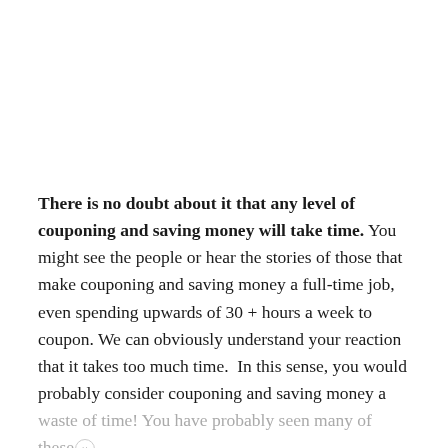There is no doubt about it that any level of couponing and saving money will take time. You might see the people or hear the stories of those that make couponing and saving money a full-time job, even spending upwards of 30 + hours a week to coupon. We can obviously understand your reaction that it takes too much time. In this sense, you would probably consider couponing and saving money a waste of time! You have probably seen many of these same exact scenarios on the recent TLC series